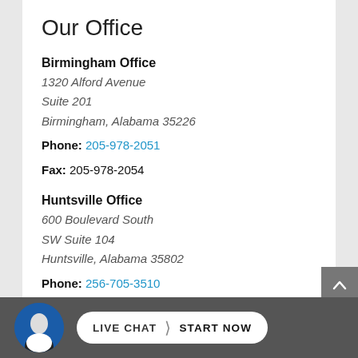Our Office
Birmingham Office
1320 Alford Avenue
Suite 201
Birmingham, Alabama 35226
Phone: 205-978-2051
Fax: 205-978-2054
Huntsville Office
600 Boulevard South
SW Suite 104
Huntsville, Alabama 35802
Phone: 256-705-3510
Fax: 256-705-3513
LIVE CHAT  START NOW